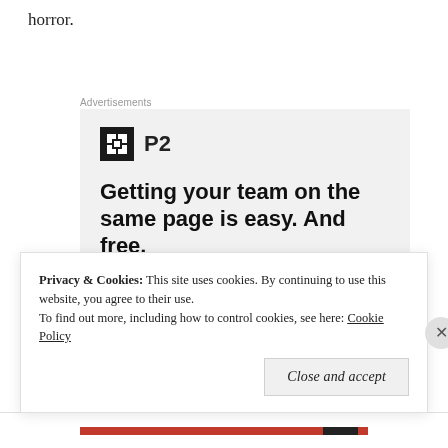horror.
Advertisements
[Figure (infographic): Advertisement for P2 (WordPress.com team blogging tool). Shows the P2 logo (dark square with grid icon and 'P2' text), headline 'Getting your team on the same page is easy. And free.' with three circular avatar photos and a blue plus button below.]
Privacy & Cookies:  This site uses cookies. By continuing to use this website, you agree to their use.
To find out more, including how to control cookies, see here: Cookie Policy
Close and accept